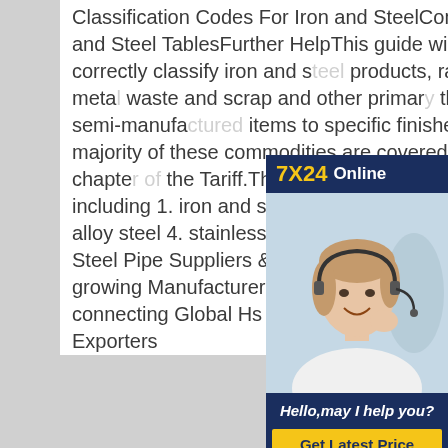Classification Codes For Iron and SteelComposition of Iron and Steel TablesFurther HelpThis guide will help you to correctly classify iron and steel products, ranging from base metal waste and scrap and other primary through treated and semi-manufactured items to specific finished products. The majority of these commodities are covered in chapter 72 and chapter of the Tariff.This guide covers iron and products including 1. iron and steel primary materials 3. iron and non-alloy steel 4. stainless stSee more on gov.ukHs Code Carbon Steel Pipe Suppliers & Exporters in UAETradeFord is a growing Manufacturer Directory and B2B Marketplace connecting Global Hs Code Carbon Steel Pipe Importers, Exporters
[Figure (other): Advertisement overlay showing '7X24 Online' header in dark navy background with gold text, a photo of a woman with headset smiling, and a dark navy footer with italic text 'Hello, may I help you?' and a yellow 'Get Latest Price' button]